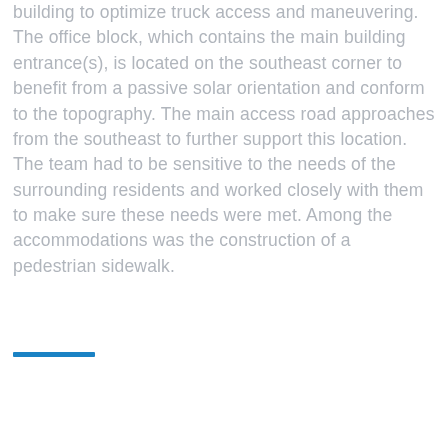building to optimize truck access and maneuvering. The office block, which contains the main building entrance(s), is located on the southeast corner to benefit from a passive solar orientation and conform to the topography. The main access road approaches from the southeast to further support this location. The team had to be sensitive to the needs of the surrounding residents and worked closely with them to make sure these needs were met. Among the accommodations was the construction of a pedestrian sidewalk.